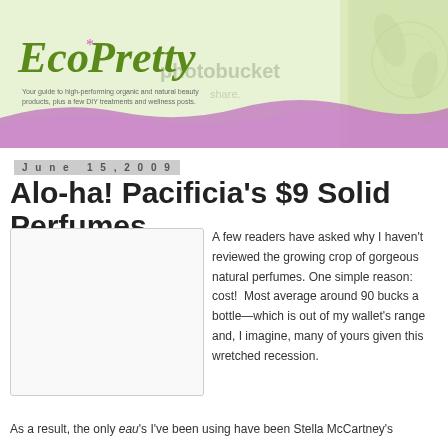[Figure (logo): Eco Pretty blog header banner with green watercolor background, script logo text 'Eco Pretty' in olive green, star asterisk in purple, photobucket watermark text, tagline text, purple wave at bottom, decorative right panel]
June 15, 2009
Alo-ha! Pacificia's $9 Solid Perfumes
[Figure (photo): Product photo placeholder, white/light grey rectangle with border]
A few readers have asked why I haven't reviewed the growing crop of gorgeous natural perfumes. One simple reason: cost!  Most average around 90 bucks a bottle—which is out of my wallet's range and, I imagine, many of yours given this wretched recession. As a result, the only eau's I've been using have been Stella McCartney's